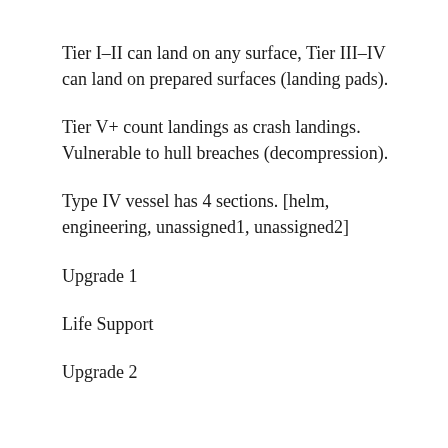Tier I–II can land on any surface, Tier III–IV can land on prepared surfaces (landing pads).
Tier V+ count landings as crash landings. Vulnerable to hull breaches (decompression).
Type IV vessel has 4 sections. [helm, engineering, unassigned1, unassigned2]
Upgrade 1
Life Support
Upgrade 2